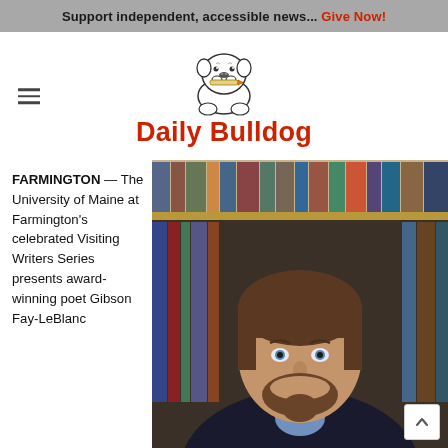Support independent, accessible news... Give Now!
[Figure (logo): Daily Bulldog newspaper logo featuring a bulldog mascot holding a pencil in its mouth, with the text 'Daily Bulldog' in red below]
FARMINGTON — The University of Maine at Farmington's celebrated Visiting Writers Series presents award-winning poet Gibson Fay-LeBlanc
[Figure (photo): Portrait photo of a middle-aged man with dark hair and beard, smiling, wearing a blue shirt and dark jacket, standing in front of a bookshelf filled with books]